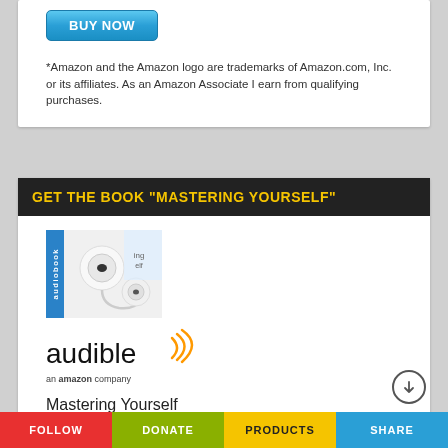[Figure (other): Blue 'BUY NOW' button]
*Amazon and the Amazon logo are trademarks of Amazon.com, Inc. or its affiliates. As an Amazon Associate I earn from qualifying purchases.
GET THE BOOK “MASTERING YOURSELF”
[Figure (photo): Audiobook product image showing white earbuds and a book cover with blue sidebar label reading 'audiobook']
[Figure (logo): Audible logo with orange wifi-like arc and text 'audible' with tagline 'an amazon company']
Mastering Yourself
Audible Version | FREE
FOLLOW   DONATE   PRODUCTS   SHARE